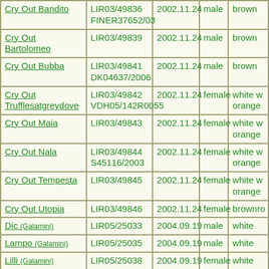| Name | Registration | Date | Sex | Color |
| --- | --- | --- | --- | --- |
| Cry Out Bandito | LIR03/49836 FINER37652/03 | 2002.11.24 | male | brown |
| Cry Out Bartolomeo | LIR03/49839 | 2002.11.24 | male | brown |
| Cry Out Bubba | LIR03/49841 DK04637/2006 | 2002.11.24 | male | brown |
| Cry Out Trufflesatgreydove | LIR03/49842 VDH05/142R0055 | 2002.11.24 | female | white w orange |
| Cry Out Maia | LIR03/49843 | 2002.11.24 | female | white w orange |
| Cry Out Nala | LIR03/49844 S45116/2003 | 2002.11.24 | female | white w orange |
| Cry Out Tempesta | LIR03/49845 | 2002.11.24 | female | white w orange |
| Cry Out Utopia | LIR03/49846 | 2002.11.24 | female | brownro |
| Dic (Galamini) | LIR05/25033 | 2004.09.19 | male | white |
| Lampo (Galamini) | LIR05/25035 | 2004.09.19 | male | white |
| Lilli (Galamini) | LIR05/25038 | 2004.09.19 | female | white |
| Ric (Galamini) | LIR05/25039 | 2004.09.19 | male | white |
| Rambo (Galamini) | LIR05/25040 | 2004.09.19 | male | white |
| Falernum |  |  |  |  |